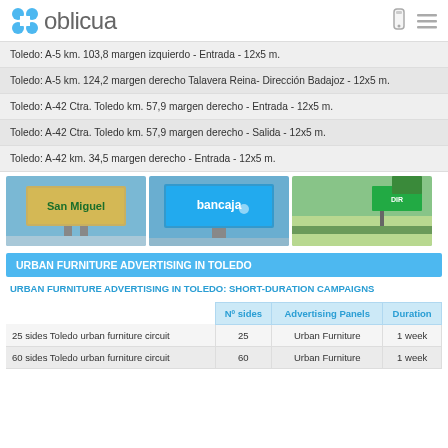oblicua
Toledo: A-5 km. 103,8 margen izquierdo - Entrada - 12x5 m.
Toledo: A-5 km. 124,2 margen derecho Talavera Reina- Dirección Badajoz - 12x5 m.
Toledo: A-42 Ctra. Toledo km. 57,9 margen derecho - Entrada - 12x5 m.
Toledo: A-42 Ctra. Toledo km. 57,9 margen derecho - Salida - 12x5 m.
Toledo: A-42 km. 34,5 margen derecho - Entrada - 12x5 m.
[Figure (photo): Three billboard advertising photos showing San Miguel, Bancaja, and a roadside billboard]
URBAN FURNITURE ADVERTISING IN TOLEDO
URBAN FURNITURE ADVERTISING IN TOLEDO: SHORT-DURATION CAMPAIGNS
|  | Nº sides | Advertising Panels | Duration |
| --- | --- | --- | --- |
| 25 sides Toledo urban furniture circuit | 25 | Urban Furniture | 1 week |
| 60 sides Toledo urban furniture circuit | 60 | Urban Furniture | 1 week |